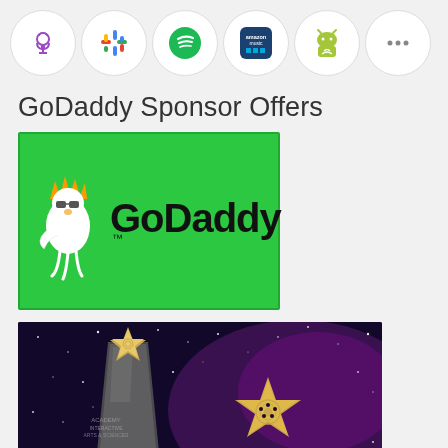[Figure (screenshot): Row of podcast platform icons in circles: Apple Podcasts (purple), Google Podcasts (colorful dots), Spotify (green), Amazon Music (dark blue/purple), Android (green robot), and more (three dots)]
GoDaddy Sponsor Offers
[Figure (logo): GoDaddy logo on bright green background with GoDaddy mascot (white cartoon character with orange crown) and bold black text 'GoDaddy' with trademark symbol]
[Figure (photo): Hall of Fame award trophy on dark purple starry background with text 'HALL FAME' and an Academy of star logo with text 'ACADEMY of']